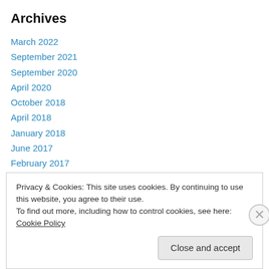Archives
March 2022
September 2021
September 2020
April 2020
October 2018
April 2018
January 2018
June 2017
February 2017
October 2016
September 2016
Privacy & Cookies: This site uses cookies. By continuing to use this website, you agree to their use.
To find out more, including how to control cookies, see here: Cookie Policy
Close and accept